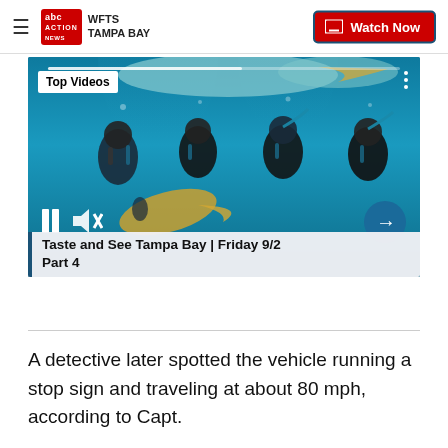WFTS TAMPA BAY | Watch Now
[Figure (screenshot): Underwater video player showing scuba divers and fish with 'Top Videos' badge, pause/mute controls, next button, and title 'Taste and See Tampa Bay | Friday 9/2 Part 4']
A detective later spotted the vehicle running a stop sign and traveling at about 80 mph, according to Capt.